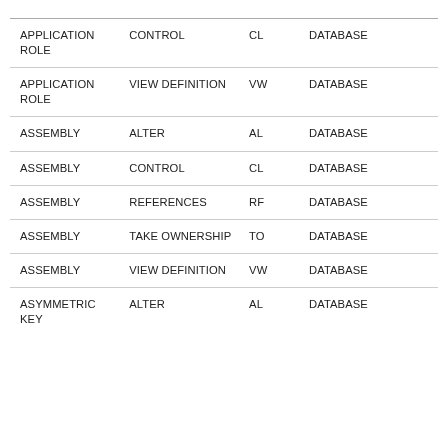| APPLICATION ROLE | CONTROL | CL | DATABASE |
| APPLICATION ROLE | VIEW DEFINITION | VW | DATABASE |
| ASSEMBLY | ALTER | AL | DATABASE |
| ASSEMBLY | CONTROL | CL | DATABASE |
| ASSEMBLY | REFERENCES | RF | DATABASE |
| ASSEMBLY | TAKE OWNERSHIP | TO | DATABASE |
| ASSEMBLY | VIEW DEFINITION | VW | DATABASE |
| ASYMMETRIC KEY | ALTER | AL | DATABASE |